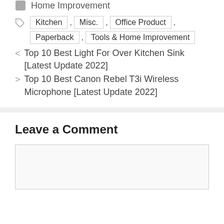Home Improvement
Kitchen , Misc. , Office Product , Paperback , Tools & Home Improvement
< Top 10 Best Light For Over Kitchen Sink [Latest Update 2022]
> Top 10 Best Canon Rebel T3i Wireless Microphone [Latest Update 2022]
Leave a Comment